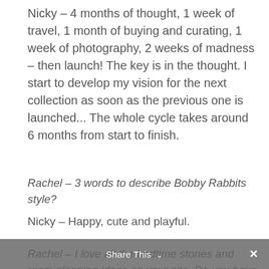Nicky – 4 months of thought, 1 week of travel, 1 month of buying and curating, 1 week of photography, 2 weeks of madness – then launch! The key is in the thought. I start to develop my vision for the next collection as soon as the previous one is launched... The whole cycle takes around 6 months from start to finish.
Rachel – 3 words to describe Bobby Rabbits style?
Nicky – Happy, cute and playful.
Rachel – I love all the bedtime stories and room planning ideas on your site. Do you have a favourite?
Share This ×